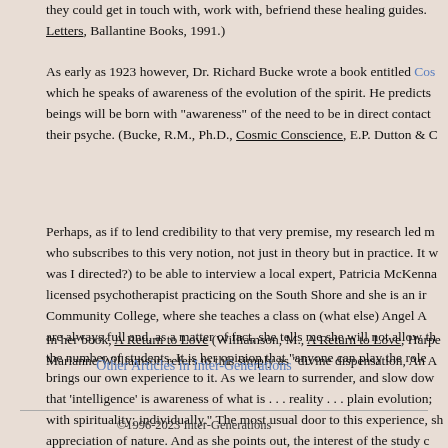they could get in touch with, work with, befriend these healing guides. Letters, Ballantine Books, 1991.)
As early as 1923 however, Dr. Richard Bucke wrote a book entitled Cos which he speaks of awareness of the evolution of the spirit. He predicts beings will be born with "awareness" of the need to be in direct contact their psyche. (Bucke, R.M., Ph.D., Cosmic Conscience, E.P. Dutton & C
Perhaps, as if to lend credibility to that very premise, my research led m who subscribes to this very notion, not just in theory but in practice. It w was I directed?) to be able to interview a local expert, Patricia McKenna licensed psychotherapist practicing on the South Shore and she is an ir Community College, where she teaches a class on (what else) Angel A are always full and, as a matter of fact, she tells me she will not allow th the number of students. It is her opinion that "anyone can play the role brings our own experience to it. As we learn to surrender, and slow dow that 'intelligence' is awareness of what is . . . reality . . . plain evolution; with spirituality; individually." The most usual door to this experience, sh appreciation of nature. And as she points out, the interest of the study c folklore and tradition, reaffirms that the quest is alive and well and living you never would have suspected. Indeed, there are angels among us!
In her book, A Return to Love (Williamson, M., A Return to Love, Harpe Marianne Williamson refers to this simply as "divine dispensation, An A
Other Articles in Inter-Generations
©1996-2023 Inter-Generations